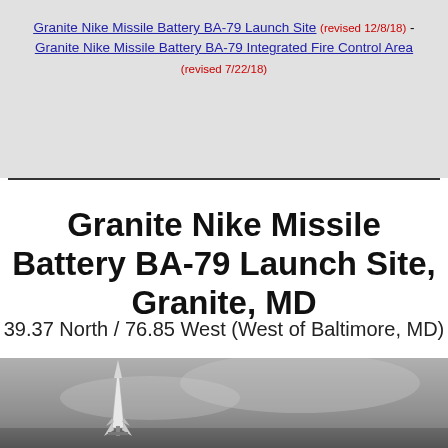Granite Nike Missile Battery BA-79 Launch Site (revised 12/8/18) - Granite Nike Missile Battery BA-79 Integrated Fire Control Area (revised 7/22/18)
Granite Nike Missile Battery BA-79 Launch Site, Granite, MD
39.37 North / 76.85 West (West of Baltimore, MD)
[Figure (photo): Black and white photograph of a Nike missile on a launch pad against a hazy sky background]